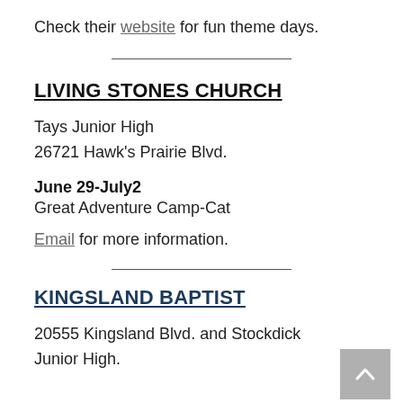Check their website for fun theme days.
LIVING STONES CHURCH
Tays Junior High
26721 Hawk's Prairie Blvd.
June 29-July2
Great Adventure Camp-Cat
Email for more information.
KINGSLAND BAPTIST
20555 Kingsland Blvd. and Stockdick Junior High.